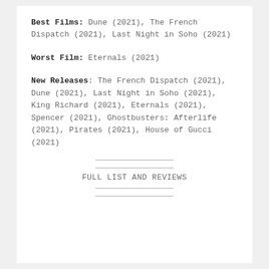Best Films: Dune (2021), The French Dispatch (2021), Last Night in Soho (2021)
Worst Film: Eternals (2021)
New Releases: The French Dispatch (2021), Dune (2021), Last Night in Soho (2021), King Richard (2021), Eternals (2021), Spencer (2021), Ghostbusters: Afterlife (2021), Pirates (2021), House of Gucci (2021)
FULL LIST AND REVIEWS